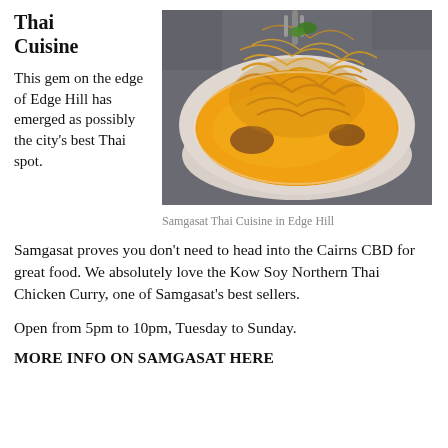Thai Cuisine
This gem on the edge of Edge Hill has emerged as possibly the city's best Thai spot.
[Figure (photo): A bowl of Kow Soy Northern Thai Chicken Curry with crispy noodles on top, orange curry broth, photographed from above on a dark surface]
Samgasat Thai Cuisine in Edge Hill
Samgasat proves you don't need to head into the Cairns CBD for great food. We absolutely love the Kow Soy Northern Thai Chicken Curry, one of Samgasat's best sellers.
Open from 5pm to 10pm, Tuesday to Sunday.
MORE INFO ON SAMGASAT HERE